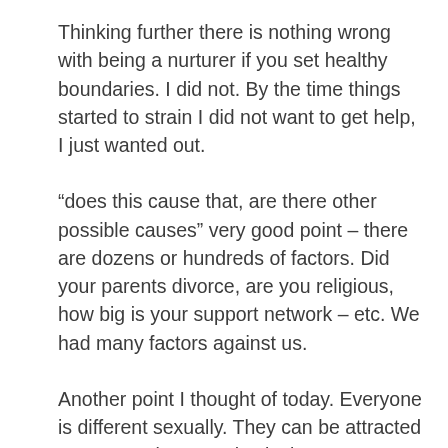Thinking further there is nothing wrong with being a nurturer if you set healthy boundaries. I did not. By the time things started to strain I did not want to get help, I just wanted out.
“does this cause that, are there other possible causes” very good point – there are dozens or hundreds of factors. Did your parents divorce, are you religious, how big is your support network – etc. We had many factors against us.
Another point I thought of today. Everyone is different sexually. They can be attracted to any gender, any physical